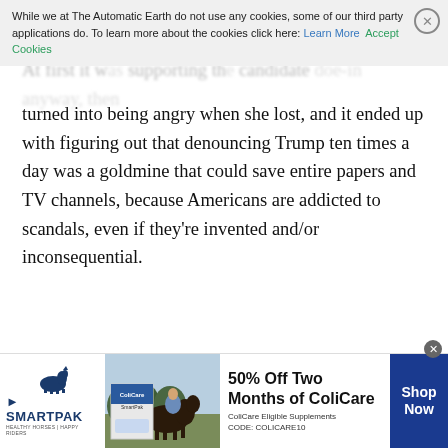While we at The Automatic Earth do not use any cookies, some of our third party applications do. To learn more about the cookies click here: Learn More Accept Cookies
turned into being angry when she lost, and it ended up with figuring out that denouncing Trump ten times a day was a goldmine that could save entire papers and TV channels, because Americans are addicted to scandals, even if they're invented and/or inconsequential.
[Figure (infographic): SmartPak advertisement banner: 50% Off Two Months of ColiCare, ColiCare Eligible Supplements, CODE: COLICARE10, Shop Now button]